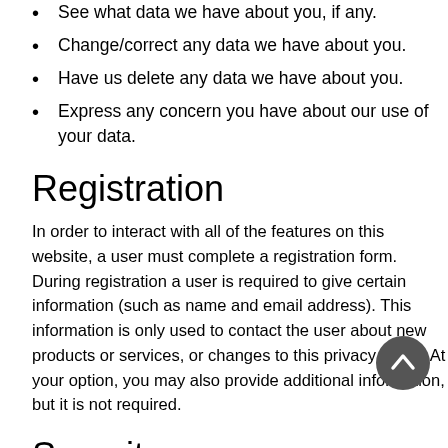See what data we have about you, if any.
Change/correct any data we have about you.
Have us delete any data we have about you.
Express any concern you have about our use of your data.
Registration
In order to interact with all of the features on this website, a user must complete a registration form. During registration a user is required to give certain information (such as name and email address). This information is only used to contact the user about new products or services, or changes to this privacy policy. At your option, you may also provide additional information, but it is not required.
Security
We take precautions to protect your information. When you submit sensitive information via the website, your information is protected both online and offline.
Wherever we collect information, that information is encrypted and transmitted in a secure way. You can verify this by looking for a lock icon in the address bar.